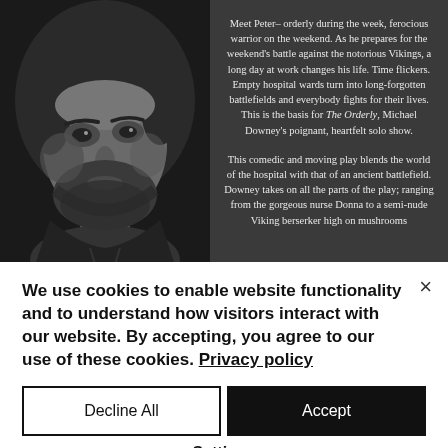[Figure (photo): Black and white close-up portrait of a bearded man on the left side, with a dark overlay text panel on the right describing a theatrical show called 'The Orderly' by Michael Downey.]
Meet Peter– orderly during the week, ferocious warrior on the weekend. As he prepares for the weekend's battle against the notorious Vikings, a long day at work changes his life. Time flickers. Empty hospital wards turn into long-forgotten battlefields and everybody fights for their lives. This is the basis for The Orderly, Michael Downey's poignant, heartfelt solo show. This comedic and moving play blends the world of the hospital with that of an ancient battlefield. Downey takes on all the parts of the play; ranging from the gorgeous nurse Donna to a semi-nude Viking berserker high on mushrooms
We use cookies to enable website functionality and to understand how visitors interact with our website. By accepting, you agree to our use of these cookies. Privacy policy
Decline All
Accept
Settings